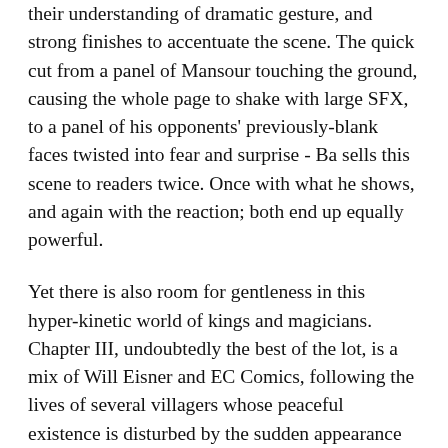their understanding of dramatic gesture, and strong finishes to accentuate the scene. The quick cut from a panel of Mansour touching the ground, causing the whole page to shake with large SFX, to a panel of his opponents' previously-blank faces twisted into fear and surprise - Ba sells this scene to readers twice. Once with what he shows, and again with the reaction; both end up equally powerful.
Yet there is also room for gentleness in this hyper-kinetic world of kings and magicians. Chapter III, undoubtedly the best of the lot, is a mix of Will Eisner and EC Comics, following the lives of several villagers whose peaceful existence is disturbed by the sudden appearance of the wizard's tower. Y'know: those classic The Spirit strips where he'd be in one panel, and the rest is all the little people who usually serve as background characters – it's like that, only written